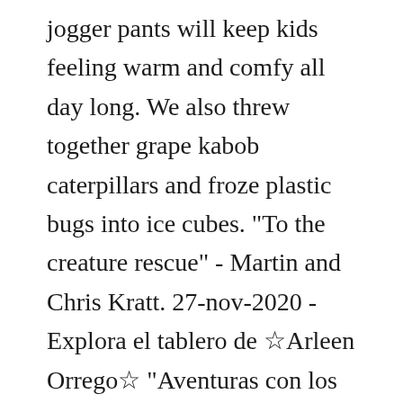jogger pants will keep kids feeling warm and comfy all day long. We also threw together grape kabob caterpillars and froze plastic bugs into ice cubes. "To the creature rescue" - Martin and Chris Kratt. 27-nov-2020 - Explora el tablero de ☆Arleen Orrego☆ "Aventuras con los Kratt" en Pinterest. Clear all. After viewing product detail pages, look here to find an easy way to navigate back to pages you are interested in. Patton Target / Holiday Shop / Halloween / All Halloween Costumes / wild kratts : Boys' Halloween Costumes (2) ... LEGO, Harry Potter, Justice League and more. See more ideas about wild kratts, wild, wild kratts birthday. There's a problem loading this menu right now. It's an educational show